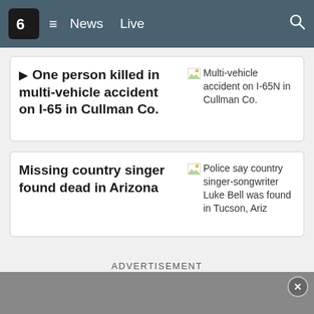6 ≡ News Live 🔍
▶ One person killed in multi-vehicle accident on I-65 in Cullman Co. | [Multi-vehicle accident on I-65N in Cullman Co.]
Missing country singer found dead in Arizona | [Police say country singer-songwriter Luke Bell was found in Tucson, Ariz]
ADVERTISEMENT